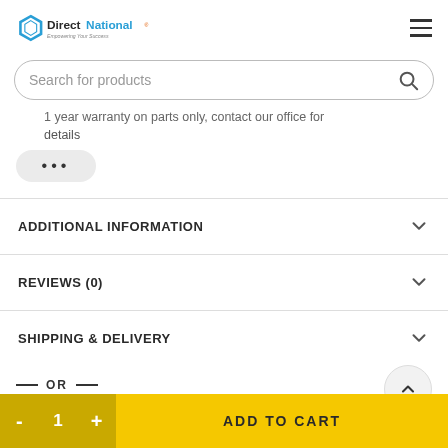DirectNational Empowering Your Success
Search for products
1 year warranty on parts only, contact our office for details
ADDITIONAL INFORMATION
REVIEWS (0)
SHIPPING & DELIVERY
— OR —
ADD TO CART